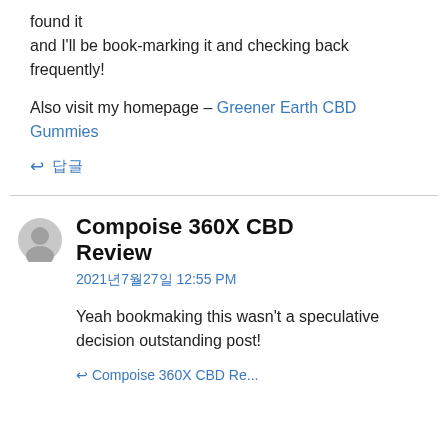found it
and I'll be book-marking it and checking back frequently!
Also visit my homepage – Greener Earth CBD Gummies
↩ 답글
Compoise 360X CBD Review
2021년7월27일 12:55 PM
Yeah bookmaking this wasn't a speculative decision outstanding post!
↩ Compoise 360X CBD Re...